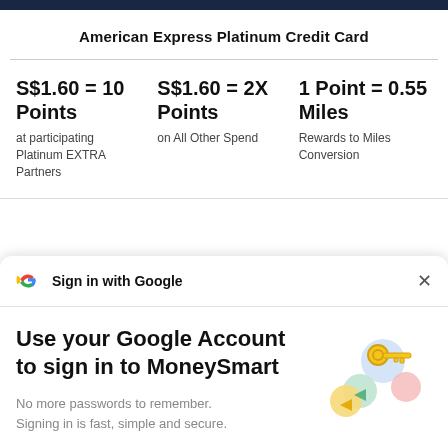American Express Platinum Credit Card
S$1.60 = 10 Points
at participating Platinum EXTRA Partners
S$1.60 = 2X Points
on All Other Spend
1 Point = 0.55 Miles
Rewards to Miles Conversion
[Figure (screenshot): Google Sign-in modal overlay with Google logo, 'Sign in with Google' header, close X button, title 'Use your Google Account to sign in to MoneySmart', subtitle 'No more passwords to remember. Signing in is fast, simple and secure.', illustration of colorful key/lock icons, and a blue Continue button.]